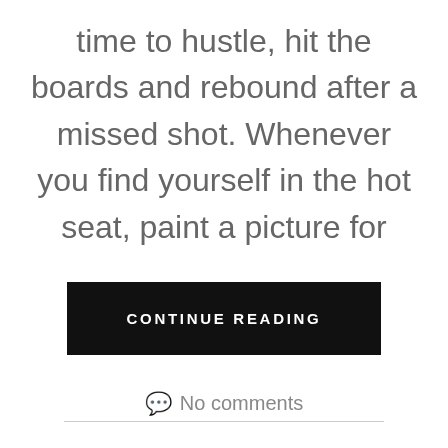time to hustle, hit the boards and rebound after a missed shot. Whenever you find yourself in the hot seat, paint a picture for
CONTINUE READING
No comments